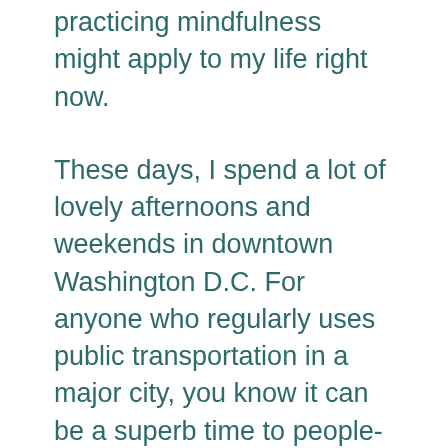practicing mindfulness might apply to my life right now.
These days, I spend a lot of lovely afternoons and weekends in downtown Washington D.C. For anyone who regularly uses public transportation in a major city, you know it can be a superb time to people-watch, but it can also be draining. Try practicing mindfulness in a crowded metro. By simply focusing on your breathing while navigating hundreds of tourists and commuters, you might feel more grounded and rejuvenated. Even though I'm not riding at the moment, I'm still trying to incorporate mindfulness into my day to day life. And I hope when I got off